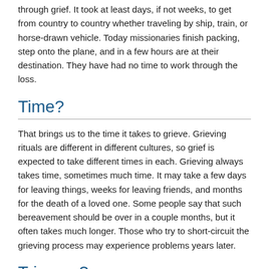through grief. It took at least days, if not weeks, to get from country to country whether traveling by ship, train, or horse-drawn vehicle. Today missionaries finish packing, step onto the plane, and in a few hours are at their destination. They have had no time to work through the loss.
Time?
That brings us to the time it takes to grieve. Grieving rituals are different in different cultures, so grief is expected to take different times in each. Grieving always takes time, sometimes much time. It may take a few days for leaving things, weeks for leaving friends, and months for the death of a loved one. Some people say that such bereavement should be over in a couple months, but it often takes much longer. Those who try to short-circuit the grieving process may experience problems years later.
Triggers?
Long after your time of grieving seems to be over, you may suddenly feel the loss intensely again. "Triggers" (stimuli that bring back memories of the lost person, place, or thing) surprise you by suddenly reactivating the grief. You may not even realize that you saw, heard, or